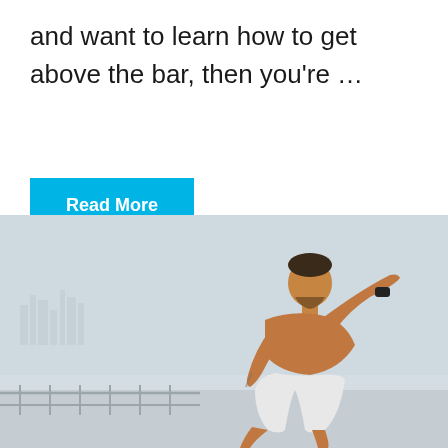and want to learn how to get above the bar, then you're …
Read More
[Figure (photo): A muscular shirtless man wearing white shorts and a black wristband sprints or lunges forward on an outdoor platform or boardwalk. The background is a pale grey misty sky with a faint city skyline visible. The image conveys athletic energy and fitness.]